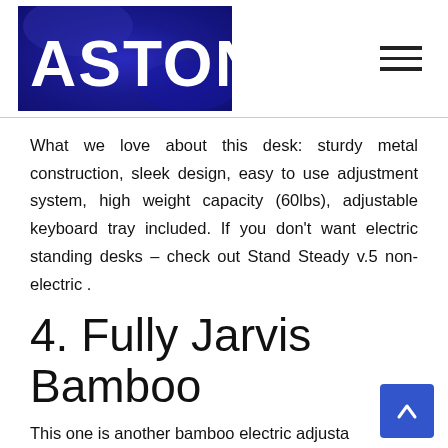[Figure (logo): ASTON logo — white bold text on dark blue/navy textured background]
What we love about this desk: sturdy metal construction, sleek design, easy to use adjustment system, high weight capacity (60lbs), adjustable keyboard tray included. If you don't want electric standing desks – check out Stand Steady v.5 non-electric .
4. Fully Jarvis Bamboo
This one is another bamboo electric adjustable desk with an affordable price tag so if cost is